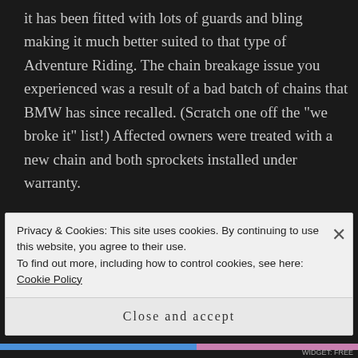it has been fitted with lots of guards and bling making it much better suited to that type of Adventure Riding. The chain breakage issue you experienced was a result of a bad batch of chains that BMW has since recalled. (Scratch one off the “we broke it” list!) Affected owners were treated with a new chain and both sprockets installed under warranty.

I’ve put a lot of miles on it since I bought it and still haven’t got used to that seat.
Privacy & Cookies: This site uses cookies. By continuing to use this website, you agree to their use.
To find out more, including how to control cookies, see here: Cookie Policy
Close and accept